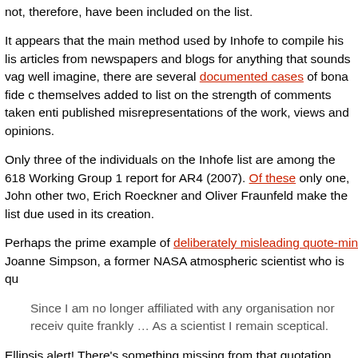not, therefore, have been included on the list.
It appears that the main method used by Inhofe to compile his list was to trawl articles from newspapers and blogs for anything that sounds vaguely sceptical. As you can well imagine, there are several documented cases of bona fide climate scientists finding themselves added to list on the strength of comments taken entirely out of context, or published misrepresentations of the work, views and opinions.
Only three of the individuals on the Inhofe list are among the 618 scientists who wrote the Working Group 1 report for AR4 (2007). Of these only one, John Christy, is a climate sceptic. The other two, Erich Roeckner and Oliver Fraunfeld make the list due to misrepresentation of the data used in its creation.
Perhaps the prime example of deliberately misleading quote-mining in the Inhofe list is Joanne Simpson, a former NASA atmospheric scientist who is quoted as saying:
Since I am no longer affiliated with any organisation nor receiving funding, I can speak quite frankly … As a scientist I remain sceptical.
Ellipsis alert! There's something missing from that quotation, and the full quote reads like this:
What should we as a nation do? Decisions have to be made on incomplete information. In this case, we must act on the recommendations of Gore and the IPCC because if we do not reduce emissions of greenhouse gases and the climate models are right, the planet could